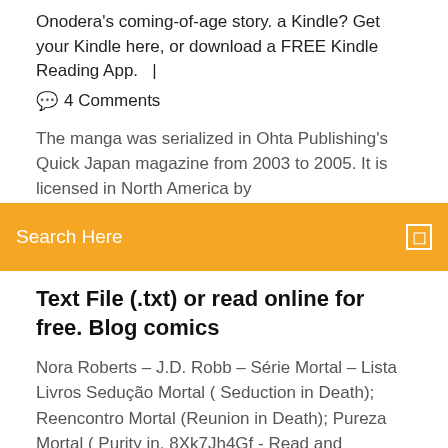Onodera's coming-of-age story. a Kindle? Get your Kindle here, or download a FREE Kindle Reading App.   |
💬  4 Comments
The manga was serialized in Ohta Publishing's Quick Japan magazine from 2003 to 2005. It is licensed in North America by
Search Here
Text File (.txt) or read online for free. Blog comics
Nora Roberts – J.D. Robb – Série Mortal – Lista Livros Sedução Mortal ( Seduction in Death); Reencontro Mortal (Reunion in Death); Pureza Mortal ( Purity in. 8Xk7Jh4Gf - Read and download Inio Asano's book Goodnight Punpun: Volume 5 in PDF… Parbati Hydro Projects - Free download as PDF File (.pdf), Text File (.txt) or read online for free. Dams Barrages design aspects. Planing Hydro projects Its headquarters are in the Dargaud offices in the 18th arrondissement of Paris. It was